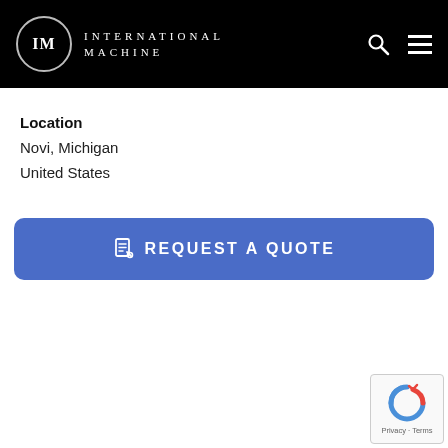INTERNATIONAL MACHINE
Location
Novi, Michigan
United States
REQUEST A QUOTE
[Figure (logo): reCAPTCHA badge with Google logo and Privacy · Terms text]